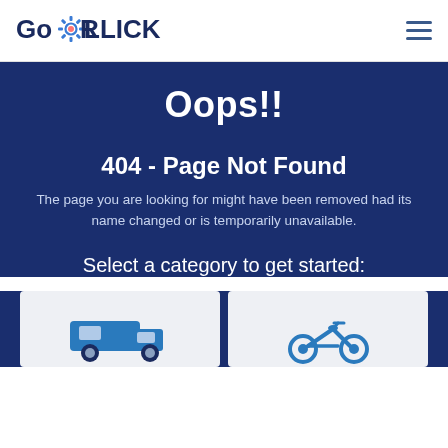[Figure (logo): GoROLLICK logo with gear icon between Go and ROLLICK text]
Oops!!
404 - Page Not Found
The page you are looking for might have been removed had its name changed or is temporarily unavailable.
Select a category to get started:
[Figure (illustration): RV/camper van icon in blue on light grey card background]
[Figure (illustration): Motorcycle icon in blue on light grey card background]